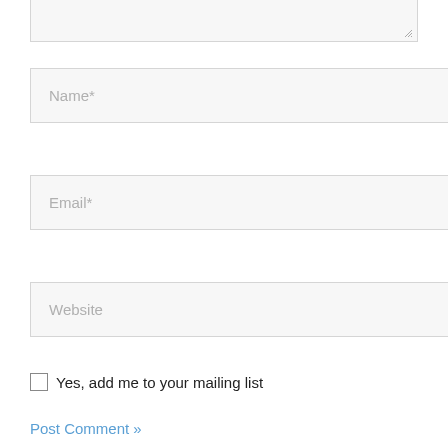[Figure (screenshot): Bottom portion of a web comment form showing a textarea stub (partially visible at top), Name* input field, Email* input field, Website input field, a checkbox with label 'Yes, add me to your mailing list', and a partially visible 'Post Comment »' button at the bottom.]
Name*
Email*
Website
Yes, add me to your mailing list
Post Comment »